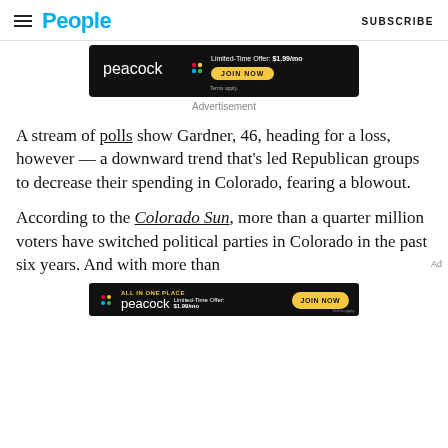People | SUBSCRIBE
[Figure (other): Peacock advertisement banner: Limited-Time Offer: $1.99/mo JOIN NOW. Terms apply.]
Advertisement
A stream of polls show Gardner, 46, heading for a loss, however — a downward trend that's led Republican groups to decrease their spending in Colorado, fearing a blowout.
According to the Colorado Sun, more than a quarter million voters have switched political parties in Colorado in the past six years. And with more than
[Figure (other): Peacock advertisement banner: ALL IN ONE PLACE. Limited-Time Offer: $1.99/mo JOIN NOW. Terms apply.]